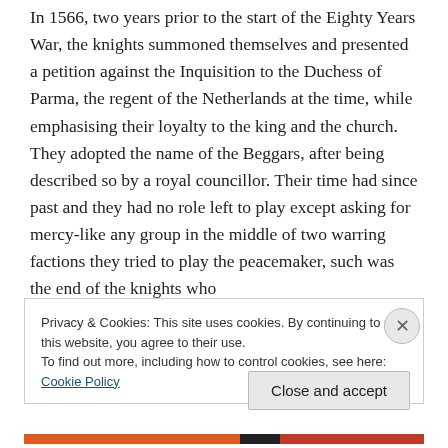In 1566, two years prior to the start of the Eighty Years War, the knights summoned themselves and presented a petition against the Inquisition to the Duchess of Parma, the regent of the Netherlands at the time, while emphasising their loyalty to the king and the church. They adopted the name of the Beggars, after being described so by a royal councillor. Their time had since past and they had no role left to play except asking for mercy-like any group in the middle of two warring factions they tried to play the peacemaker, such was the end of the knights who
Privacy & Cookies: This site uses cookies. By continuing to use this website, you agree to their use.
To find out more, including how to control cookies, see here: Cookie Policy
Close and accept